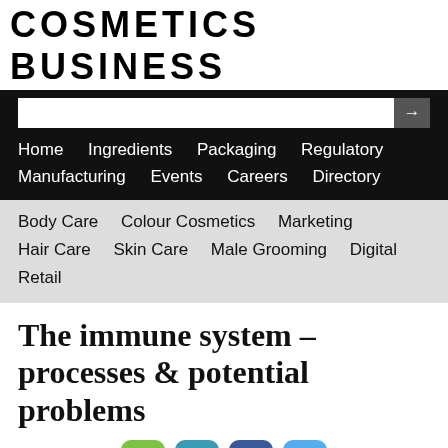COSMETICS BUSINESS
Home  Ingredients  Packaging  Regulatory  Manufacturing  Events  Careers  Directory
Body Care  Colour Cosmetics  Marketing  Hair Care  Skin Care  Male Grooming  Digital  Retail
The immune system – processes & potential problems
20-Apr-2011
Regulatory | Skin Care